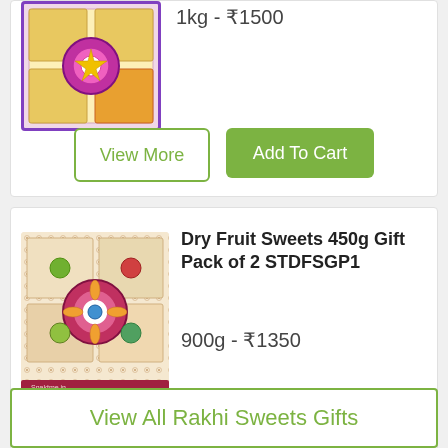[Figure (photo): Dry fruit gift box with decorative mandala design, colorful packaging with purple and yellow tones]
1kg - ₹1500
View More
Add To Cart
[Figure (photo): Dry Fruit Sweets 450g gift pack box with decorative pattern and mandala design]
Dry Fruit Sweets 450g Gift Pack of 2 STDFSGP1
900g - ₹1350
View More
Add To Cart
View All Rakhi Sweets Gifts